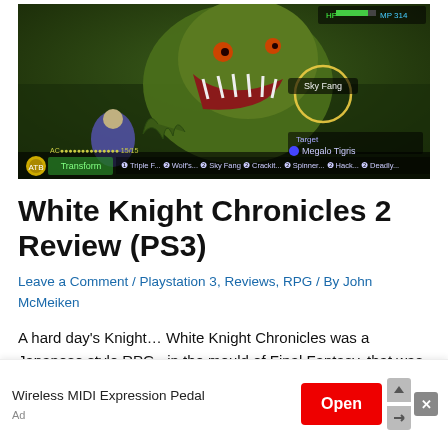[Figure (screenshot): White Knight Chronicles 2 PS3 gameplay screenshot showing a large monster 'Megalo Tigris' being targeted as 'Sky Fang' with a Transform ability active and action bar at the bottom with Triple F, Wolf's, Sky Fang, Crackit, Spinner, Hack, Deadly options.]
White Knight Chronicles 2 Review (PS3)
Leave a Comment / Playstation 3, Reviews, RPG / By John McMeiken
A hard day’s Knight… White Knight Chronicles was a Japanese style RPG , in the mould of Final Fantasy, that was released last year, if memory serves correctly. I must admit, even though I’m
[Figure (screenshot): Advertisement banner: Wireless MIDI Expression Pedal with Open button in red and close/skip controls.]